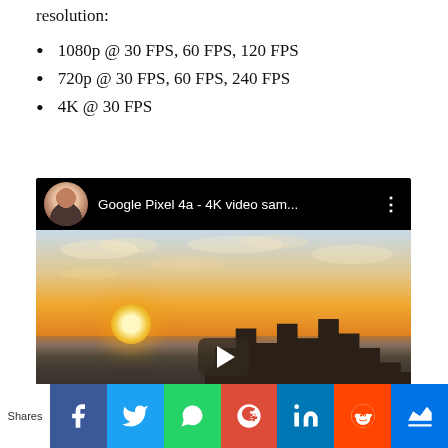resolution:
1080p @ 30 FPS, 60 FPS, 120 FPS
720p @ 30 FPS, 60 FPS, 240 FPS
4K @ 30 FPS
[Figure (screenshot): YouTube video thumbnail for 'Google Pixel 4a - 4K video sam...' showing a cityscape at sunset with buildings silhouetted against a warm sky, with a YouTube play button overlay.]
Shares | Facebook | Twitter | WhatsApp | Google+ | LinkedIn | Reddit | Crown/bookmark